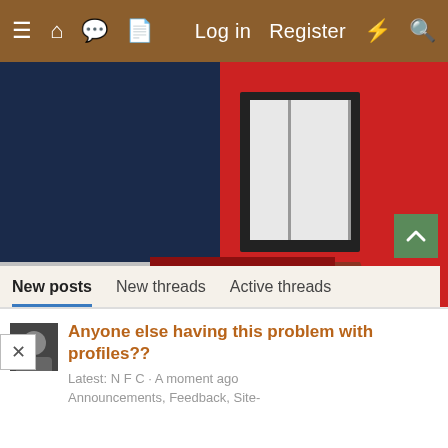≡  🏠  💬  📄    Log in   Register   ⚡   🔍
[Figure (photo): Advertisement for MannaPro Automated Coop Door product, showing a chicken, a product box labeled 'Automated Coop Door', a red barn with automated door, and the MannaPro logo with tagline 'nurturing life.']
New posts   New threads   Active threads
Anyone else having this problem with profiles??
Latest: N F C · A moment ago
Announcements, Feedback, Site-